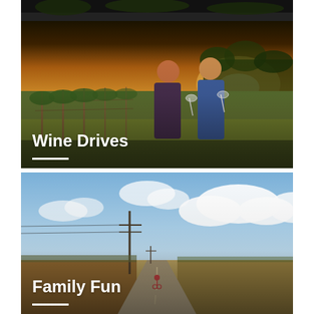[Figure (photo): Partial view of an image at the top of the page, cropped — appears to be an outdoor scene.]
[Figure (photo): A couple standing in a vineyard at golden hour sunset, holding wine glasses and smiling. Rows of vines stretch into the background. White text overlay reads 'Wine Drives' with a white horizontal bar underneath.]
[Figure (photo): A flat country road stretching into the distance under a wide blue sky with clouds. A person on a bicycle is visible far down the road, and a power pole stands on the left. White text overlay reads 'Family Fun' with a white horizontal bar underneath.]